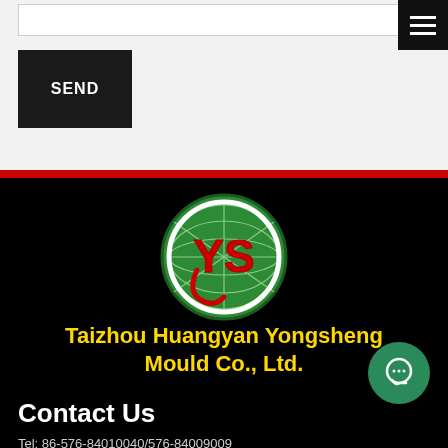[Figure (screenshot): Input/search bar at top of page]
[Figure (logo): Hamburger menu icon (three horizontal white lines on black background) at top right]
SEND
[Figure (logo): YS globe logo - green oval with globe grid pattern and red YS letters in center]
Taizhou Huangyan Yongsheng Mould Co., Ltd.
Contact Us
Tel: 86-576-84010040/576-84009009